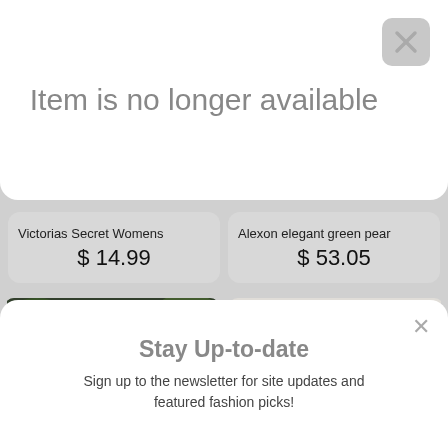Item is no longer available
Victorias Secret Womens
$ 14.99
Alexon elegant green pear
$ 53.05
[Figure (photo): Photo of a dark navy blue cardigan on a mannequin outdoors with green foliage background, with a heart/favorite icon in top right]
[Figure (photo): Photo of an olive green women's suit jacket and skirt set on a hanger against a light gray background, with a heart/favorite icon in top right]
Stay Up-to-date
Sign up to the newsletter for site updates and featured fashion picks!